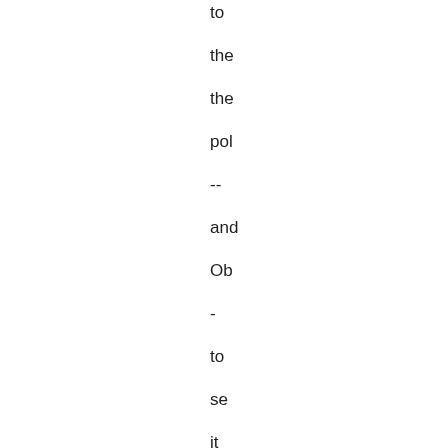to
the
the
pol
--
and
Ob
-
to
se
it
thr
Posted by Terry Olson at 04:PM | Pe